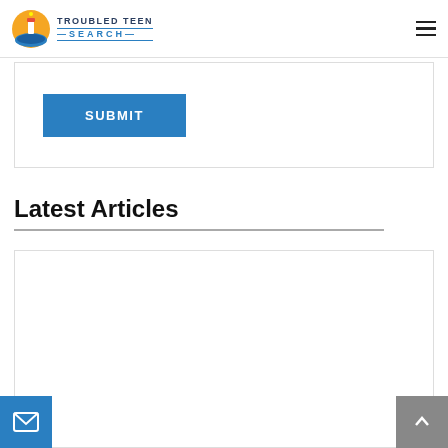TROUBLED TEEN SEARCH
[Figure (logo): Troubled Teen Search logo with lighthouse icon and text]
[Figure (infographic): Blue SUBMIT button]
Latest Articles
[Figure (photo): Article card image placeholder (white)]
9 June